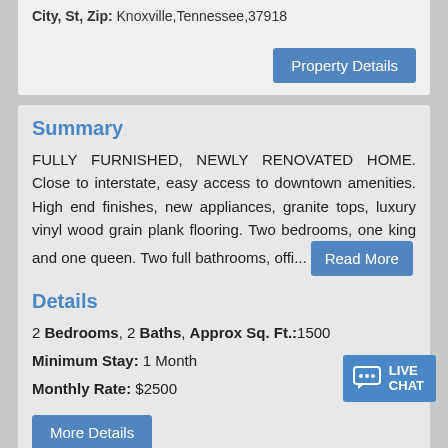City, St, Zip: Knoxville,Tennessee,37918
Property Details
Summary
FULLY FURNISHED, NEWLY RENOVATED HOME. Close to interstate, easy access to downtown amenities. High end finishes, new appliances, granite tops, luxury vinyl wood grain plank flooring. Two bedrooms, one king and one queen. Two full bathrooms, offi... Read More
Details
2 Bedrooms, 2 Baths, Approx Sq. Ft.:1500
Minimum Stay: 1 Month
Monthly Rate: $2500
More Details
LIVE CHAT